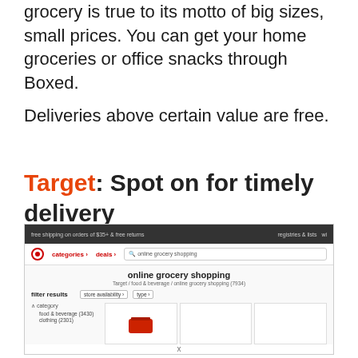grocery is true to its motto of big sizes, small prices. You can get your home groceries or office snacks through Boxed.
Deliveries above certain value are free.
Target: Spot on for timely delivery
[Figure (screenshot): Screenshot of Target.com website showing search results for 'online grocery shopping'. The page shows the Target navigation bar with categories and deals links, a search box, breadcrumb trail, filter results panel with category filters (food & beverage 3430, clothing 2301), and partial product cards.]
x